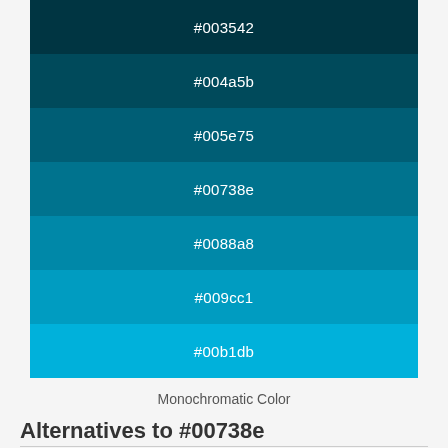[Figure (infographic): Monochromatic color palette swatches showing 7 shades from dark teal #003542 to bright cyan #00b1db, displayed as horizontal color bands with hex codes centered in white text]
Monochromatic Color
Alternatives to #00738e